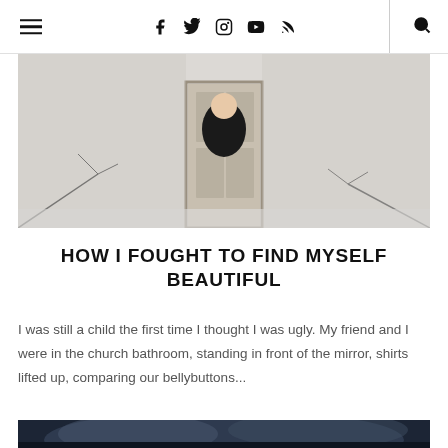Navigation bar with hamburger menu, social icons (Facebook, Twitter, Instagram, YouTube, RSS), and search icon
[Figure (photo): Woman in black dress standing in front of a white brick building with a door, winter scene with bare branches]
HOW I FOUGHT TO FIND MYSELF BEAUTIFUL
I was still a child the first time I thought I was ugly. My friend and I were in the church bathroom, standing in front of the mirror, shirts lifted up, comparing our bellybuttons...
[Figure (photo): Dark, moody photo with cloudy sky — partially visible at bottom of page]